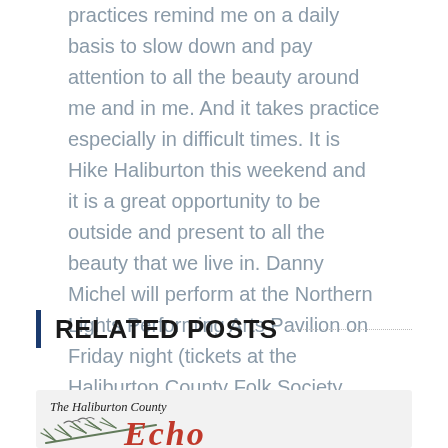practices remind me on a daily basis to slow down and pay attention to all the beauty around me and in me. And it takes practice especially in difficult times. It is Hike Haliburton this weekend and it is a great opportunity to be outside and present to all the beauty that we live in. Danny Michel will perform at the Northern Lights Performing Arts Pavilion on Friday night (tickets at the Haliburton County Folk Society website). He is an optimistic energetic really fun guy who has thousands of hours of musical practice. His show will be great.
RELATED POSTS
[Figure (other): The Haliburton County Echo newspaper logo with pine branch illustration and red italic masthead text]